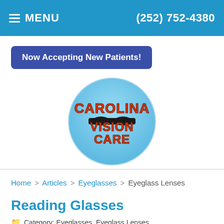MENU  (252) 752-4380
Now Accepting New Patients!
[Figure (logo): Carolina Vision Care logo: red and orange stylized text on a light blue circle background]
Home > Articles > Eyeglasses > Eyeglass Lenses
Reading Glasses
Category: Eyeglasses, Eyeglass Lenses
[Figure (photo): Partial photo of a person wearing glasses, cropped at bottom of page]